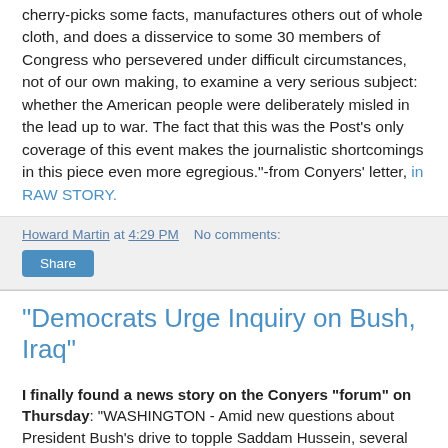cherry-picks some facts, manufactures others out of whole cloth, and does a disservice to some 30 members of Congress who persevered under difficult circumstances, not of our own making, to examine a very serious subject: whether the American people were deliberately misled in the lead up to war. The fact that this was the Post's only coverage of this event makes the journalistic shortcomings in this piece even more egregious."-from Conyers' letter, in RAW STORY.
Howard Martin at 4:29 PM   No comments:
Share
"Democrats Urge Inquiry on Bush, Iraq"
I finally found a news story on the Conyers "forum" on Thursday: "WASHINGTON - Amid new questions about President Bush's drive to topple Saddam Hussein, several